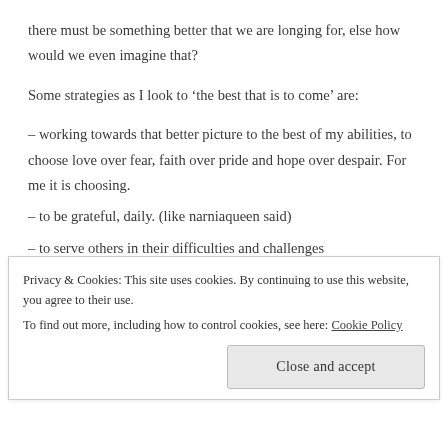there must be something better that we are longing for, else how would we even imagine that?
Some strategies as I look to ‘the best that is to come’ are:
– working towards that better picture to the best of my abilities, to choose love over fear, faith over pride and hope over despair. For me it is choosing.
– to be grateful, daily. (like narniaqueen said)
– to serve others in their difficulties and challenges
– to care as well as I can for myself- sleep, exercise, diet, reading, prayer etc. (I think TCK/global nomad types need to take depression seriously!)
Privacy & Cookies: This site uses cookies. By continuing to use this website, you agree to their use. To find out more, including how to control cookies, see here: Cookie Policy
Close and accept
depression seriously!)